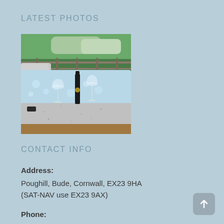LATEST PHOTOS
[Figure (photo): Hot tub with wine bottle and two wine glasses on the edge, trees and wooden fence in background]
CONTACT INFO
Address:
Poughill, Bude, Cornwall, EX23 9HA
(SAT-NAV use EX23 9AX)
Phone: